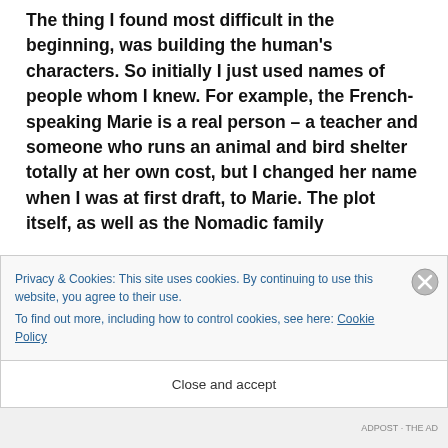The thing I found most difficult in the beginning, was building the human's characters. So initially I just used names of people whom I knew. For example, the French-speaking Marie is a real person – a teacher and someone who runs an animal and bird shelter totally at her own cost, but I changed her name when I was at first draft, to Marie. The plot itself, as well as the Nomadic family
Privacy & Cookies: This site uses cookies. By continuing to use this website, you agree to their use. To find out more, including how to control cookies, see here: Cookie Policy
Close and accept